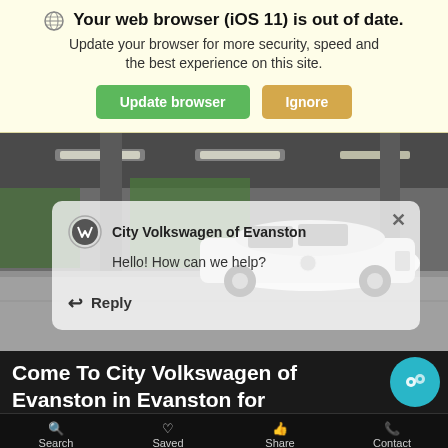🌐 Your web browser (iOS 11) is out of date. Update your browser for more security, speed and the best experience on this site.
Update browser | Ignore
[Figure (screenshot): Car (white Volkswagen sedan) in a parking structure with pillars and overhead lighting. A chat popup overlay is visible showing City Volkswagen of Evanston with message: Hello! How can we help? and a Reply button.]
Come To City Volkswagen of Evanston in Evanston for Volkswagen Service
Search | Saved | Share | Contact